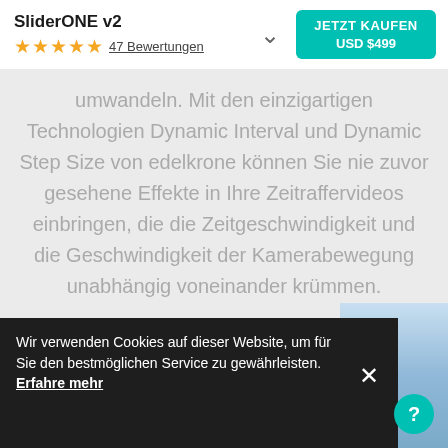SliderONE v2
★★★★★ 47 Bewertungen
JETZT KAUFEN USD $499
umwandeln. Mit den einzigartigen Technologien Dynamic Interval und Dynamic Step Size von edelkrone können Sie nie zuvor gesehene Effekte in Ihre Zeitraffervideos einbringen, die die Zeitgeschwindigkeit und die Geschwindigkeit der Kamerabewegung unabhängig voneinander krümmen.
Wir verwenden Cookies auf dieser Website, um für Sie den bestmöglichen Service zu gewährleisten. Erfahre mehr